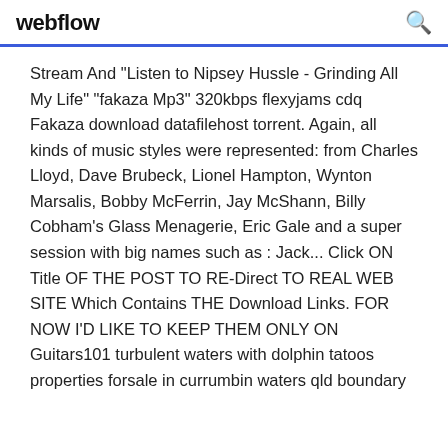webflow
Stream And "Listen to Nipsey Hussle - Grinding All My Life" "fakaza Mp3" 320kbps flexyjams cdq Fakaza download datafilehost torrent. Again, all kinds of music styles were represented: from Charles Lloyd, Dave Brubeck, Lionel Hampton, Wynton Marsalis, Bobby McFerrin, Jay McShann, Billy Cobham's Glass Menagerie, Eric Gale and a super session with big names such as : Jack... Click ON Title OF THE POST TO RE-Direct TO REAL WEB SITE Which Contains THE Download Links. FOR NOW I'D LIKE TO KEEP THEM ONLY ON Guitars101 turbulent waters with dolphin tatoos properties forsale in currumbin waters qld boundary